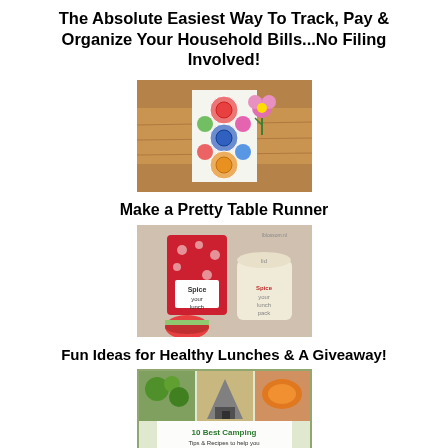The Absolute Easiest Way To Track, Pay & Organize Your Household Bills...No Filing Involved!
[Figure (photo): Colorful patterned table runner on a wooden table with a small pink flower arrangement]
Make a Pretty Table Runner
[Figure (photo): Healthy lunch items including snack bags and containers with spice text labels]
Fun Ideas for Healthy Lunches & A Giveaway!
[Figure (photo): 10 Best Camping Tips & Recipes book cover with camping food images]
10 Great Camping Recipes & Tips To Get You Through Summer...